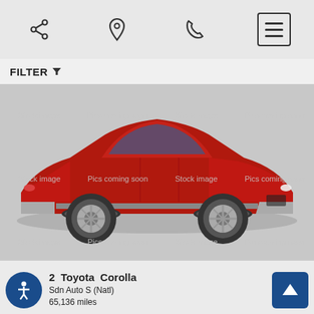[Figure (screenshot): Mobile app toolbar with share, location pin, phone, and hamburger menu icons on a gray background]
FILTER
[Figure (photo): Red Toyota Corolla sedan stock image with watermark text grid showing 'Stock image' and 'Pics coming soon' repeated across rows]
Stock image   Pics coming soon   Stock image   Pics coming soon
Stock image   Pics coming soon   Stock image   Pics coming soon
Stock image   Pics coming soon   Stock image   Pics coming soon
2  Toyota  Corolla
Sdn Auto S (Natl)
65,136 miles